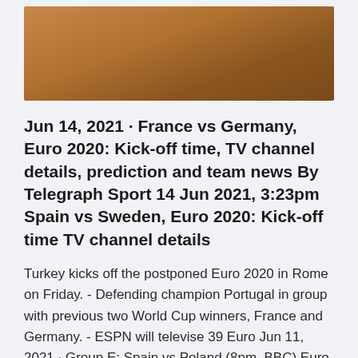[Figure (photo): Partial photo showing a brown/tan textured surface, likely a leather or wooden background, cropped at the top of the page.]
Jun 14, 2021 · France vs Germany, Euro 2020: Kick-off time, TV channel details, prediction and team news By Telegraph Sport 14 Jun 2021, 3:23pm Spain vs Sweden, Euro 2020: Kick-off time TV channel details
Turkey kicks off the postponed Euro 2020 in Rome on Friday. - Defending champion Portugal in group with previous two World Cup winners, France and Germany. - ESPN will televise 39 Euro Jun 11, 2021 · Group E: Spain vs Poland (8pm, BBC) Euro 2020 wallchart predictor -